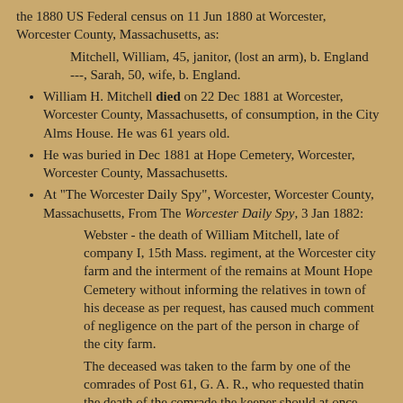the 1880 US Federal census on 11 Jun 1880 at Worcester, Worcester County, Massachusetts, as:
    Mitchell, William, 45, janitor, (lost an arm), b. England
    ---, Sarah, 50, wife, b. England.
William H. Mitchell died on 22 Dec 1881 at Worcester, Worcester County, Massachusetts, of consumption, in the City Alms House. He was 61 years old.
He was buried in Dec 1881 at Hope Cemetery, Worcester, Worcester County, Massachusetts.
At "The Worcester Daily Spy", Worcester, Worcester County, Massachusetts, From The Worcester Daily Spy, 3 Jan 1882:
    Webster - the death of William Mitchell, late of company I, 15th Mass. regiment, at the Worcester city farm and the interment of the remains at Mount Hope Cemetery without informing the relatives in town of his decease as per request, has caused much comment of negligence on the part of the person in charge of the city farm.
    The deceased was taken to the farm by one of the comrades of Post 61, G. A. R., who requested thatin the death of the comrade the keeper should at once notify the post of the death, as he desired to be buried in Webster. His son visited the farm on Friday, and to